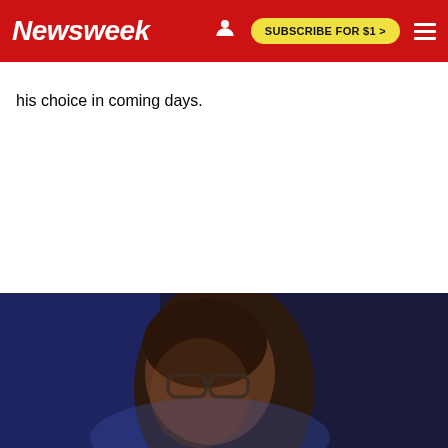Newsweek | SUBSCRIBE FOR $1 >
his choice in coming days.
[Figure (photo): A person wearing glasses, partially visible, photographed in low light against a dark blue background.]